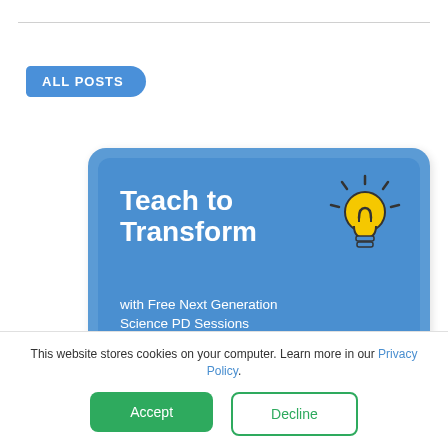ALL POSTS
[Figure (infographic): Blue promotional banner card: 'Teach to Transform with Free Next Generation Science PD Sessions' with a lightbulb icon and LEARN MORE button, plus a child's head visible at bottom right.]
This website stores cookies on your computer. Learn more in our Privacy Policy.
Accept
Decline